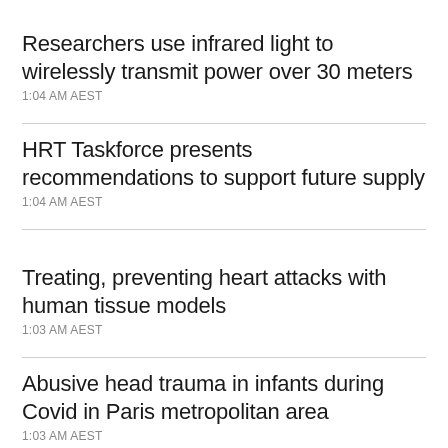Researchers use infrared light to wirelessly transmit power over 30 meters
1:04 AM AEST
HRT Taskforce presents recommendations to support future supply
1:04 AM AEST
Treating, preventing heart attacks with human tissue models
1:03 AM AEST
Abusive head trauma in infants during Covid in Paris metropolitan area
1:03 AM AEST
Domestic violence consultations in Japan before vs during pandemic
1:03 AM AEST